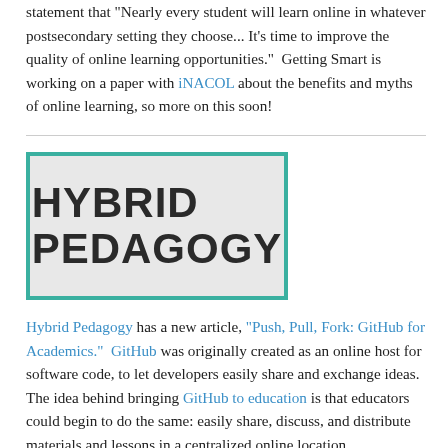statement that "Nearly every student will learn online in whatever postsecondary setting they choose... It's time to improve the quality of online learning opportunities."  Getting Smart is working on a paper with iNACOL about the benefits and myths of online learning, so more on this soon!
[Figure (logo): Hybrid Pedagogy logo — large bold text reading 'HYBRID PEDAGOGY' inside a teal-bordered rectangle with light gray background]
Hybrid Pedagogy has a new article, "Push, Pull, Fork: GitHub for Academics."  GitHub was originally created as an online host for software code, to let developers easily share and exchange ideas.  The idea behind bringing GitHub to education is that educators could begin to do the same: easily share, discuss, and distribute materials and lessons in a centralized online location.